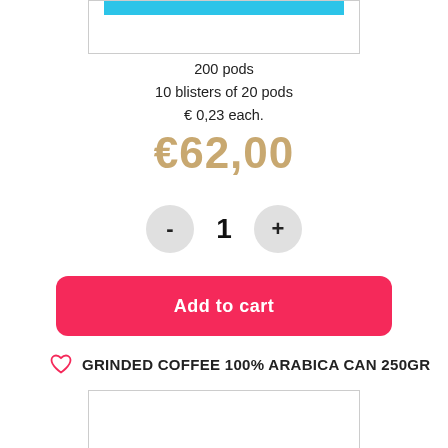[Figure (screenshot): Top portion of a product image box with a cyan/teal blue bar visible at the top, partially cropped]
200 pods
10 blisters of 20 pods
€ 0,23 each.
€62,00
[Figure (other): Quantity selector with minus button, value 1, and plus button]
Add to cart
GRINDED COFFEE 100% ARABICA CAN 250GR
[Figure (photo): Bottom product image box, mostly white/empty, partially visible]